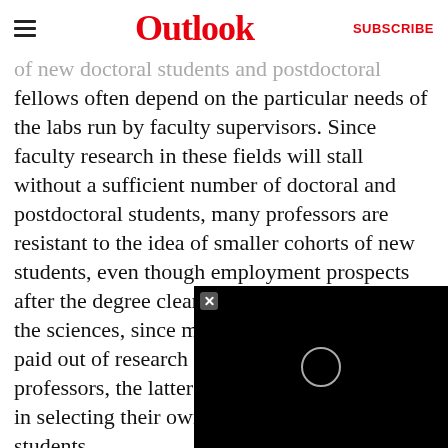Outlook | SUBSCRIBE
of new doctoral students and postdoctoral fellows often depend on the particular needs of the labs run by faculty supervisors. Since faculty research in these fields will stall without a sufficient number of doctoral and postdoctoral students, many professors are resistant to the idea of smaller cohorts of new students, even though employment prospects after the degree clearly look otherwise. And in the sciences, since most doctoral stipends are paid out of research grants won by individual professors, the latter have far greater freedom in selecting their own doctoral students.
In the humanities and the social sciences, where doctoral students are funded either out of university funds or dispersed in the form of